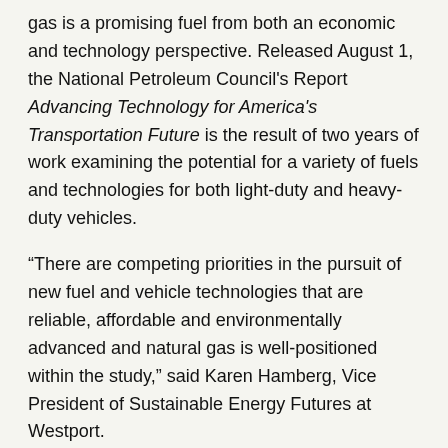gas is a promising fuel from both an economic and technology perspective. Released August 1, the National Petroleum Council's Report Advancing Technology for America's Transportation Future is the result of two years of work examining the potential for a variety of fuels and technologies for both light-duty and heavy-duty vehicles.
“There are competing priorities in the pursuit of new fuel and vehicle technologies that are reliable, affordable and environmentally advanced and natural gas is well-positioned within the study,” said Karen Hamberg, Vice President of Sustainable Energy Futures at Westport.
Westport Innovations Inc. is the only Canadian-based company to be involved in this study. Westport representatives – Hamberg; Westport Senior Advisor and former President Michael Gallagher; and former Westport VP Graham Williams – were members of the natural gas sub-group, chaired by Gallagher and consisting of more than 60 industry representatives. Over 300 participants representing industry,